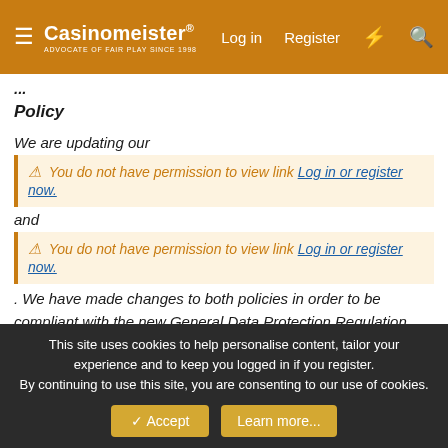Casinomeister® — Advocate of Fair Play Since 1998 | Log in | Register
Policy
We are updating our
⚠ You do not have permission to view link Log in or register now.
and
⚠ You do not have permission to view link Log in or register now.
. We have made changes to both policies in order to be compliant with the new General Data Protection Regulation (known as GDPR).
Please take some time to review these updated policies. By continuing to use our website on or after 7 May 2018
This site uses cookies to help personalise content, tailor your experience and to keep you logged in if you register. By continuing to use this site, you are consenting to our use of cookies. Accept Learn more...